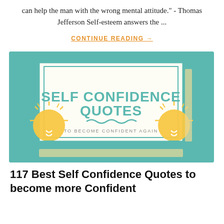can help the man with the wrong mental attitude." - Thomas Jefferson Self-esteem answers the ...
CONTINUE READING →
[Figure (illustration): Decorative infographic with teal background, a white bordered rectangle in the center containing the text 'SELF CONFIDENCE QUOTES' in large teal letters, 'TO BECOME CONFIDENT AGAIN' below, a teal wavy underline, and two yellow light bulb illustrations on either side.]
117 Best Self Confidence Quotes to become more Confident